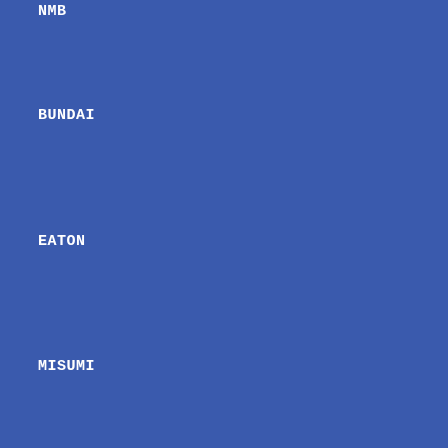NMB
BUNDAI
EATON
MISUMI
ETC
FUJIW
WINDSTORM
MKS
SANWA